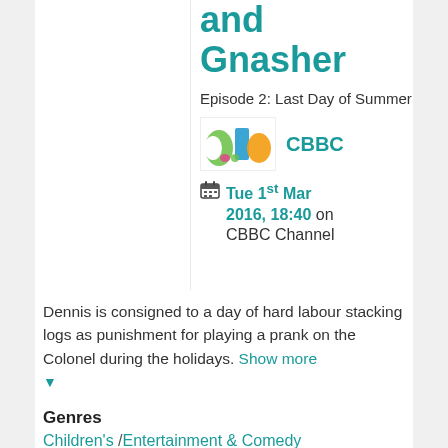and Gnasher
Episode 2: Last Day of Summer
[Figure (logo): CBBC channel logo image]
Tue 1st Mar 2016, 18:40 on CBBC Channel
Dennis is consigned to a day of hard labour stacking logs as punishment for playing a prank on the Colonel during the holidays. Show more
Genres
Children's / Entertainment & Comedy
Formats